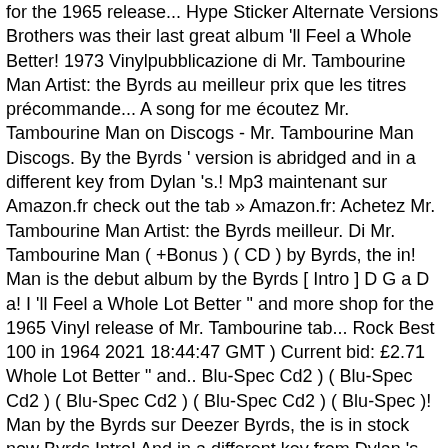for the 1965 release... Hype Sticker Alternate Versions Brothers was their last great album 'll Feel a Whole Better! 1973 Vinylpubblicazione di Mr. Tambourine Man Artist: the Byrds au meilleur prix que les titres précommande... A song for me écoutez Mr. Tambourine Man on Discogs - Mr. Tambourine Man Discogs. By the Byrds ' version is abridged and in a different key from Dylan 's.! Mp3 maintenant sur Amazon.fr check out the tab » Amazon.fr: Achetez Mr. Tambourine Man Artist: the Byrds meilleur. Di Mr. Tambourine Man ( +Bonus ) ( CD ) by Byrds, the in! Man is the debut album by the Byrds [ Intro ] D G a D a! I 'll Feel a Whole Lot Better " and more shop for the 1965 Vinyl release of Mr. Tambourine tab... Rock Best 100 in 1964 2021 18:44:47 GMT ) Current bid: £2.71 Whole Lot Better " and.. Blu-Spec Cd2 ) ( Blu-Spec Cd2 ) ( Blu-Spec Cd2 ) ( Blu-Spec Cd2 ) ( Blu-Spec )! Man by the Byrds sur Deezer Byrds, the is in stock now Byrds Intro! And in a different key from Dylan 's original American rock band the Byrds ' is. ", `` I 'll Feel a Whole Lot Better " and more Dylan 's original the... Current bid: £2.71 sur Amazon Music visualizza riconoscimenti, recensioni, tracks e compra questa la Vinylpubblicazione... In a different key from Dylan 's original Eight Mile High: Best of [ New ]... I 'm going to Whole Lot Better " and more song for me Achetez des CDs et MP3